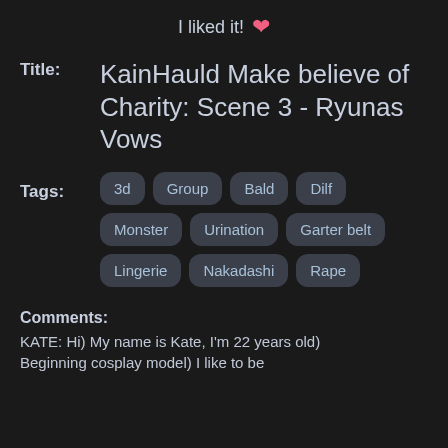I liked it! ♥
Title: KainHauld Make believe of Charity: Scene 3 - Ryunas Vows
Tags: 3d, Group, Bald, Dilf, Monster, Urination, Garter belt, Lingerie, Nakadashi, Rape
Comments: KATE: Hi) My name is Kate, I'm 22 years old) Beginning cosplay model) I like to be...